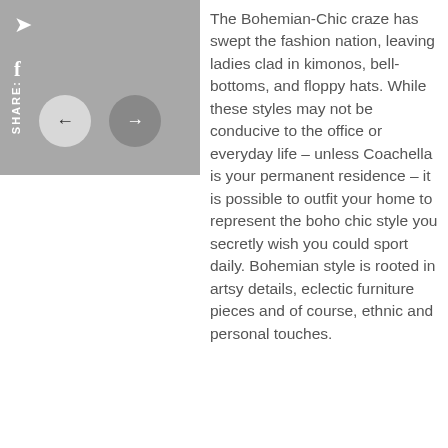[Figure (screenshot): Gray panel with social media share icons (quote/bookmark icon and Facebook 'f' icon), a 'SHARE:' vertical label, and two circular navigation arrow buttons (left arrow on light gray circle, right arrow on darker gray circle).]
The Bohemian-Chic craze has swept the fashion nation, leaving ladies clad in kimonos, bell-bottoms, and floppy hats. While these styles may not be conducive to the office or everyday life – unless Coachella is your permanent residence – it is possible to outfit your home to represent the boho chic style you secretly wish you could sport daily. Bohemian style is rooted in artsy details, eclectic furniture pieces and of course, ethnic and personal touches.